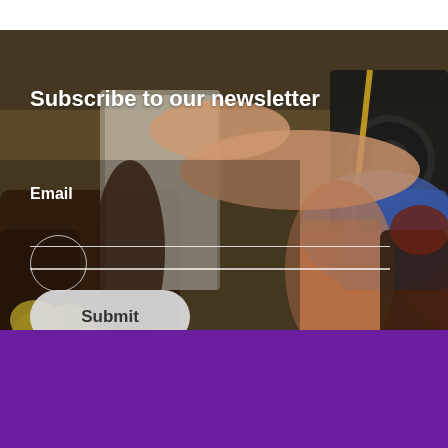[Figure (photo): A person with tattoos reclining on a dark leather sofa, wearing colorful lingerie in blue and red/coral tones, with yellow flowers visible in the lower left and speakers/audio equipment in the background. The image is used as a background for a newsletter subscription widget.]
Subscribe to our newsletter
Email
Submit
We use cookies on this site to enhance your user experience
By clicking the Accept button, you agree to us doing so. More info
Accept
No, thanks